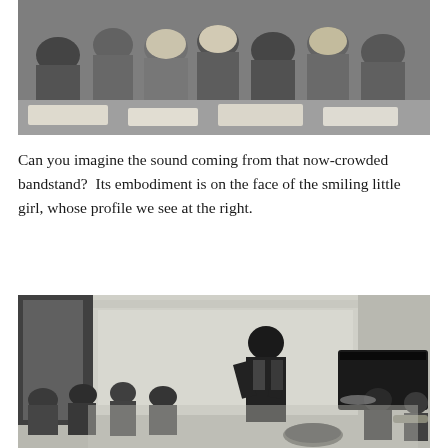[Figure (photo): Black and white photograph of a crowd of children/students seated at desks, viewed from behind, in a classroom or auditorium setting.]
Can you imagine the sound coming from that now-crowded bandstand?  Its embodiment is on the face of the smiling little girl, whose profile we see at the right.
[Figure (photo): Black and white photograph of a jazz performance scene: a singer/performer standing center, an audience in the background, musicians including a pianist and trumpeter visible on the right, set in an ornate room.]